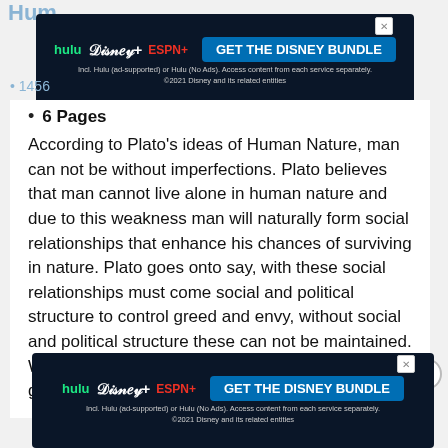[Figure (screenshot): Hulu Disney+ ESPN+ Get The Disney Bundle advertisement banner at top]
6 Pages
According to Plato’s ideas of Human Nature, man can not be without imperfections. Plato believes that man cannot live alone in human nature and due to this weakness man will naturally form social relationships that enhance his chances of surviving in nature. Plato goes onto say, with these social relationships must come social and political structure to control greed and envy, without social and political structure these can not be maintained. With all that being said Plato colors his views of government…
[Figure (screenshot): Read More button]
[Figure (screenshot): Hulu Disney+ ESPN+ Get The Disney Bundle advertisement banner at bottom]